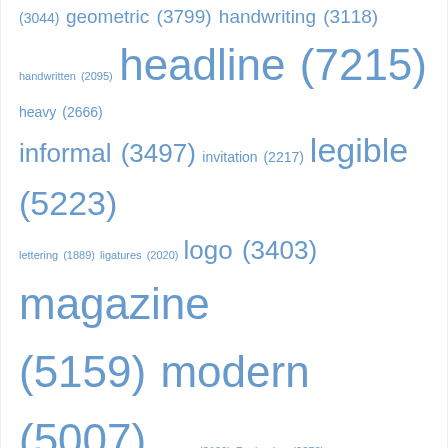(3044) geometric (3799) handwriting (3118) handwritten (2095) headline (7215) heavy (2666) informal (3497) invitation (2217) legible (5223) lettering (1889) ligatures (2020) logo (3403) magazine (5159) modern (5007) narrow (2106) Packaging (2272) poster (6054) retro (4224) rough (1905) rounded (2019) sans (2751) sans serif (7205) script (4070) serif (4119) signage (1841) Text (2570) vintage (2978) wedding (1884)
Home   Font Special Offers   About Jorgensen Fonts   Contact